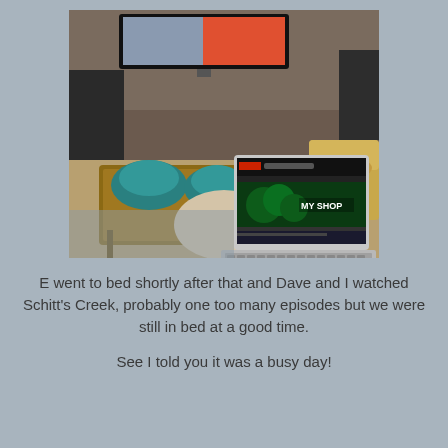[Figure (photo): A person sitting on a couch using a MacBook laptop showing the Loblaws 'My Shop' website. In the background there is a living room with a coffee table, teal/blue bean bags, a television mounted on the wall, and what appears to be a dog on a couch.]
E went to bed shortly after that and Dave and I watched Schitt's Creek, probably one too many episodes but we were still in bed at a good time.

See I told you it was a busy day!